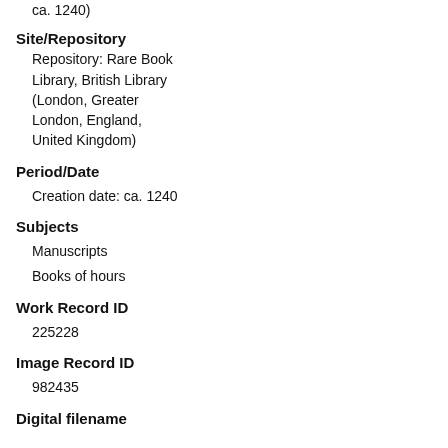ca. 1240)
Site/Repository
Repository: Rare Book Library, British Library (London, Greater London, England, United Kingdom)
Period/Date
Creation date: ca. 1240
Subjects
Manuscripts
Books of hours
Work Record ID
225228
Image Record ID
982435
Digital filename